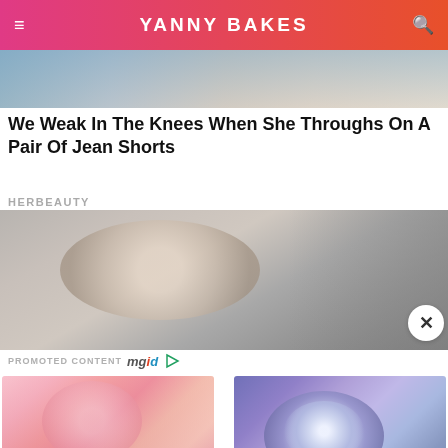YANNY BAKES
[Figure (photo): Partial photo of a person wearing a sparkly/sequined top, cropped at shoulders]
We Weak In The Knees When She Throughs On A Pair Of Jean Shorts
HERBEAUTY
[Figure (photo): Close-up photo of a person's hair parting/scalp, blurred face, advertisement image]
PROMOTED CONTENT mgid
[Figure (photo): Pink feathered elaborate costume/makeup artist creation by Vanessa Davis]
17 Mind-Blowing Makeovers By Makeup Artist Vanessa Davis
[Figure (photo): 3D illustration of coronavirus/Omicron variant particle with spikes on purple background]
Omicron Can Spread Even Faster Than Its Predecessors